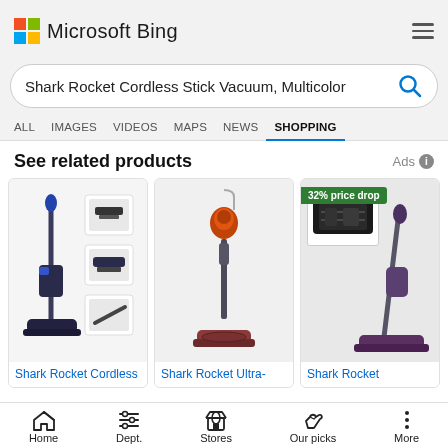Microsoft Bing
Shark Rocket Cordless Stick Vacuum, Multicolor
ALL   IMAGES   VIDEOS   MAPS   NEWS   SHOPPING
See related products
Ads
[Figure (photo): Shark Rocket Cordless vacuum cleaner product image with attachments]
Shark Rocket Cordless
[Figure (photo): Shark Rocket Ultra- vacuum cleaner product image]
Shark Rocket Ultra-
[Figure (photo): Shark Rocket vacuum with 32% price drop badge]
Shark Rocket
Home   Dept.   Stores   Our picks   More